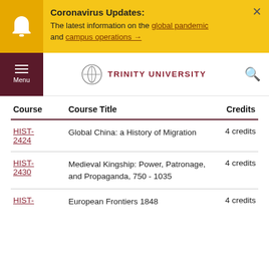Coronavirus Updates: The latest information on the global pandemic and campus operations →
[Figure (screenshot): Trinity University navigation bar with menu button and logo]
| Course | Course Title | Credits |
| --- | --- | --- |
| HIST-2424 | Global China: a History of Migration | 4 credits |
| HIST-2430 | Medieval Kingship: Power, Patronage, and Propaganda, 750 - 1035 | 4 credits |
| HIST- | European Frontiers 1848 | 4 credits |